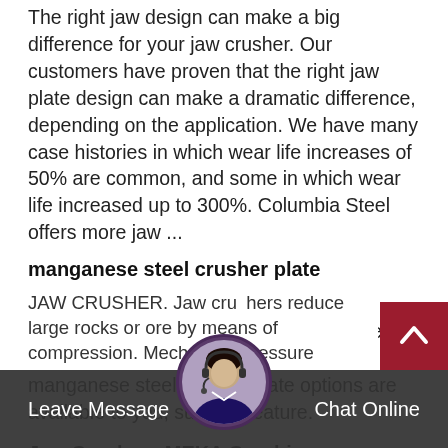The right jaw design can make a big difference for your jaw crusher. Our customers have proven that the right jaw plate design can make a dramatic difference, depending on the application. We have many case histories in which wear life increases of 50% are common, and some in which wear life increased up to 300%. Columbia Steel offers more jaw ...
manganese steel crusher plate manganese steel crusher
Alibaba.com offers 5,344 manganese steel crusher plate products. A wide variety of manganese steel crusher plate options are available to you, such as feature.
Jaw Crushers MEKA Crushing amp Screening Pl…
JAW CRUSHER. Jaw crushers reduce large rocks or ore by means of compression. Mechanical pressure
Leave Message   Chat Online